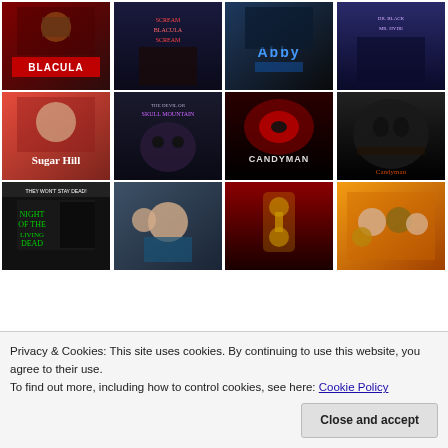[Figure (other): Grid of 12 horror movie posters arranged in 3 rows of 4. Row 1: Blacula, Scream Blacula Scream, Abby, Dr. Black Mr. Hyde. Row 2: Sugar Hill, The Skull of Skull Mountain, Candyman, Candyman (Candy Hood). Row 3: Night of the Living Dead, Get Out, Us, Us (group).]
Privacy & Cookies: This site uses cookies. By continuing to use this website, you agree to their use.
To find out more, including how to control cookies, see here: Cookie Policy